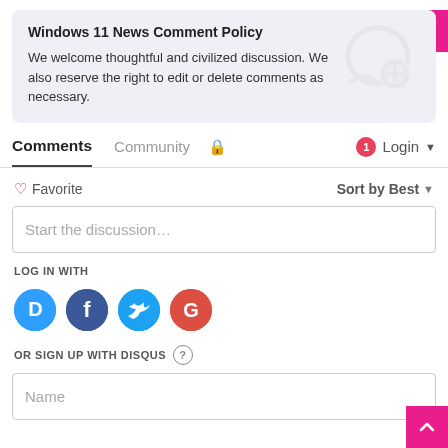Windows 11 News Comment Policy
We welcome thoughtful and civilized discussion. We also reserve the right to edit or delete comments as necessary.
Comments  Community  🔒  1  Login ▾
♡ Favorite    Sort by Best ▾
Start the discussion…
LOG IN WITH
[Figure (infographic): Social login icons: Disqus (blue D), Facebook (dark blue f), Twitter (light blue bird), Google (red G)]
OR SIGN UP WITH DISQUS ?
Name